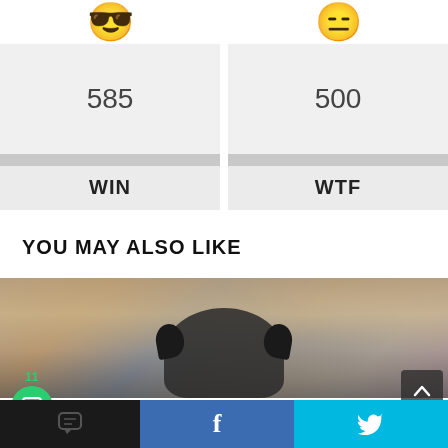[Figure (infographic): Two vote buttons side by side. Left: sunglasses emoji face, count 585, label WIN. Right: neutral/expressionless emoji face, count 500, label WTF.]
YOU MAY ALSO LIKE
[Figure (photo): Photo of a dark-colored bulldog or pug dog looking at camera, blurred outdoor background with crowd/fair scene]
[Figure (infographic): Bottom social share bar: dark chat bubble icon on black (11 SHARES), Facebook button (f), Twitter button (bird icon). Scroll to top arrow button.]